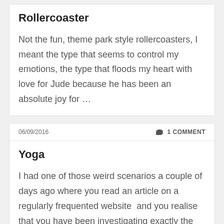Rollercoaster
Not the fun, theme park style rollercoasters, I meant the type that seems to control my emotions, the type that floods my heart with love for Jude because he has been an absolute joy for …
06/09/2016
1 COMMENT
Yoga
I had one of those weird scenarios a couple of days ago where you read an article on a regularly frequented website  and you realise that you have been investigating exactly the same thing they …